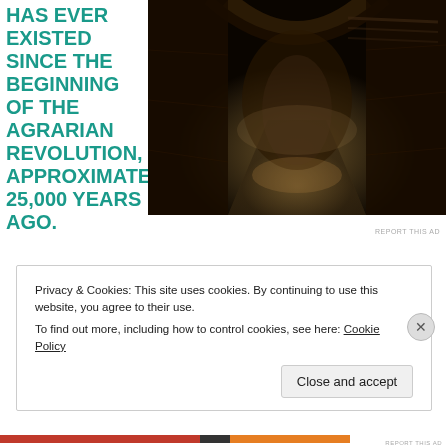HAS EVER EXISTED SINCE THE BEGINNING OF THE AGRARIAN REVOLUTION, APPROXIMATELY 25,000 YEARS AGO.
[Figure (photo): Dark stone corridor or hallway with arched ceiling, medieval dungeon-like architecture with dim lighting]
REPORT THIS AD
Privacy & Cookies: This site uses cookies. By continuing to use this website, you agree to their use.
To find out more, including how to control cookies, see here: Cookie Policy
Close and accept